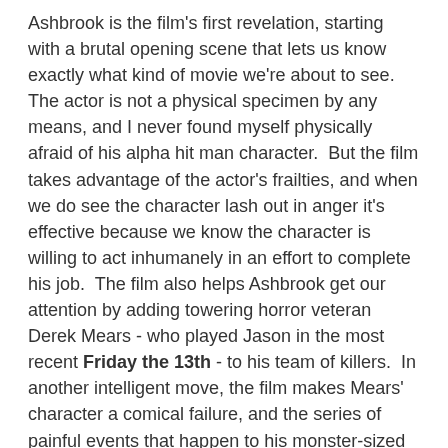Ashbrook is the film's first revelation, starting with a brutal opening scene that lets us know exactly what kind of movie we're about to see.  The actor is not a physical specimen by any means, and I never found myself physically afraid of his alpha hit man character.  But the film takes advantage of the actor's frailties, and when we do see the character lash out in anger it's effective because we know the character is willing to act inhumanely in an effort to complete his job.  The film also helps Ashbrook get our attention by adding towering horror veteran Derek Mears - who played Jason in the most recent Friday the 13th - to his team of killers.  In another intelligent move, the film makes Mears' character a comical failure, and the series of painful events that happen to his monster-sized character almost make us feel sympathy when he shrieks in pain with his entirely human voice.
Fabianne Therese is the final cog in the  cast, playing the teenage daughter who doesn't understand Owen but knows she needs his help to survive the four killers who have descended on their new home.  She's the voice of reason at times - though her logic when chastising Ashbrook's Lloyd in one crucial scene was a prime example of teenage thinking